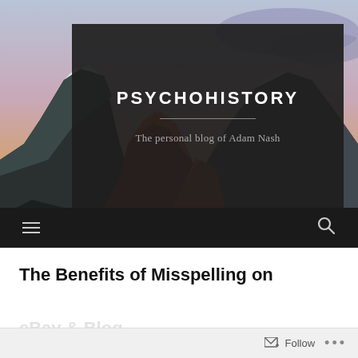[Figure (photo): Mountain landscape with dramatic orange and purple sunset sky as blog header background image]
PSYCHOHISTORY
The personal blog of Adam Nash
Navigation bar with hamburger menu and search icon
The Benefits of Misspelling on
Follow ...